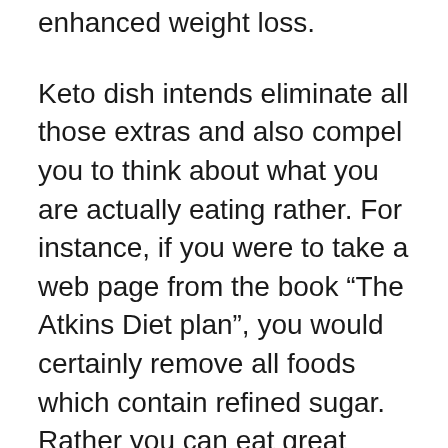enhanced weight loss.
Keto dish intends eliminate all those extras and also compel you to think about what you are actually eating rather. For instance, if you were to take a web page from the book “The Atkins Diet plan”, you would certainly remove all foods which contain refined sugar. Rather you can eat great deals of vegetables and fruits, and starches like brown rice or potatoes. Furthermore, this diet focuses on fat loss, not carbohydrate burning.
A proper ketogenic diet regimen is based on all-natural ingredients such as unsaturated fats, healthy proteins, vitamins, minerals and also amino acids. The ketones you melt are the gas your body requires to operate